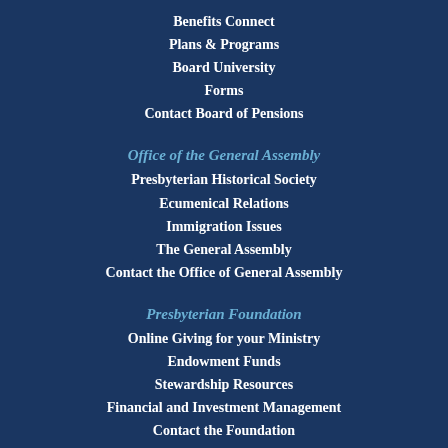Benefits Connect
Plans & Programs
Board University
Forms
Contact Board of Pensions
Office of the General Assembly
Presbyterian Historical Society
Ecumenical Relations
Immigration Issues
The General Assembly
Contact the Office of General Assembly
Presbyterian Foundation
Online Giving for your Ministry
Endowment Funds
Stewardship Resources
Financial and Investment Management
Contact the Foundation